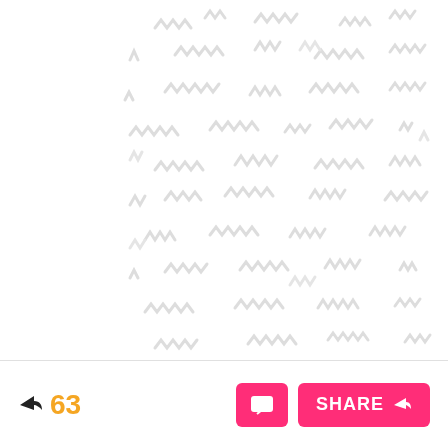[Figure (illustration): A white background filled with scattered light gray zigzag and wavy line doodles/scribbles in various sizes and orientations, creating a decorative pattern.]
63
SHARE